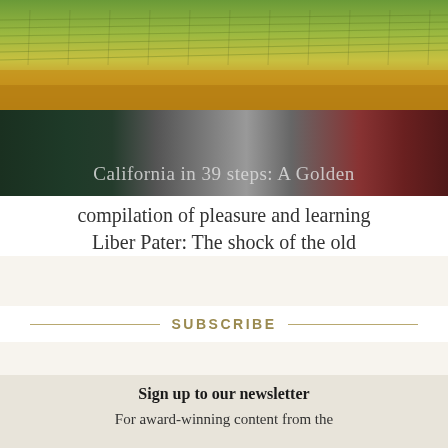[Figure (photo): Aerial view of vineyard rows on rolling hills with golden fields below, and a lower strip showing a person with a backpack against dark green and red background]
California in 39 steps: A Golden compilation of pleasure and learning
Liber Pater: The shock of the old
SUBSCRIBE
Sign up to our newsletter
For award-winning content from the